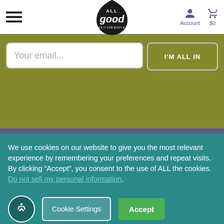[Figure (logo): ALL good logo - black teardrop/drop shape with white text 'ALL good' inside]
Your email...
I'M ALL IN
We use cookies on our website to give you the most relevant experience by remembering your preferences and repeat visits. By clicking “Accept”, you consent to the use of ALL the cookies. Do not sell my personal information.
Cookie Settings
Accept